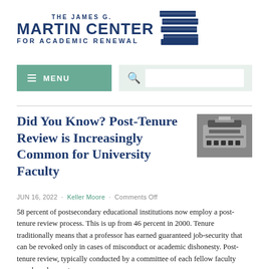[Figure (logo): The James G. Martin Center for Academic Renewal logo with stacked books icon in navy blue]
[Figure (screenshot): Navigation bar with green MENU button and search box]
Did You Know? Post-Tenure Review is Increasingly Common for University Faculty
[Figure (photo): Photograph of a typewriter]
JUN 16, 2022 · Keller Moore · Comments Off
58 percent of postsecondary educational institutions now employ a post-tenure review process. This is up from 46 percent in 2000. Tenure traditionally means that a professor has earned guaranteed job-security that can be revoked only in cases of misconduct or academic dishonesty. Post-tenure review, typically conducted by a committee of each fellow faculty member, does not...